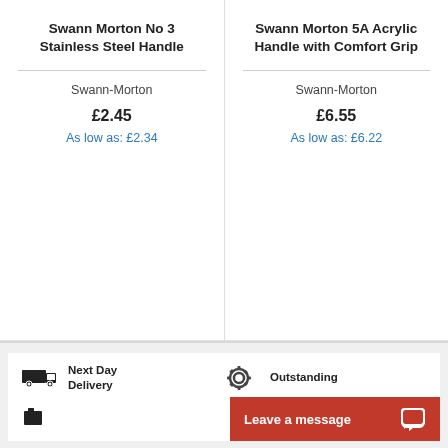Swann Morton No 3 Stainless Steel Handle
Swann-Morton
£2.45
As low as: £2.34
Swann Morton 5A Acrylic Handle with Comfort Grip
Swann-Morton
£6.55
As low as: £6.22
Next Day Delivery
Outstanding
Leave a message